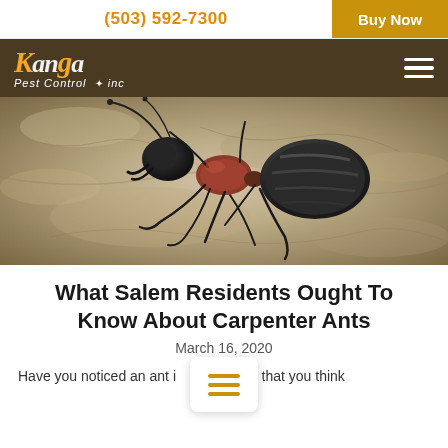(503) 592-7300  Buy Now
[Figure (logo): Kanga Pest Control Inc logo in orange and white on dark brown background, with hamburger menu icon on right]
[Figure (photo): Close-up macro photograph of a large carpenter ant on rough wood/bark surface, showing black head, reddish-brown thorax, and black abdomen with gray striping]
What Salem Residents Ought To Know About Carpenter Ants
March 16, 2020
Have you noticed an ant i  ome that you think